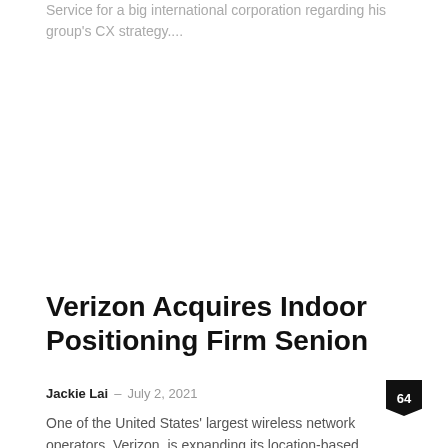Service for a big international corporation regarding his group's CX strategy....
Verizon Acquires Indoor Positioning Firm Senion
Jackie Lai  –  July 2, 2021  64
One of the United States' largest wireless network operators, Verizon, is expanding its location-based technology offering, targeting precise indoor positioning as an important part...